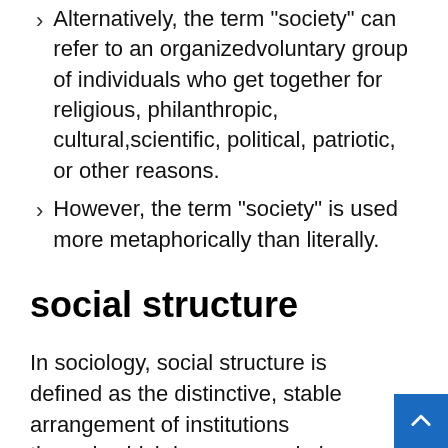Alternatively, the term “society” can refer to an organizedvoluntary group of individuals who get together for religious, philanthropic, cultural,scientific, political, patriotic, or other reasons.
However, the term “society” is used more metaphorically than literally.
social structure
In sociology, social structure is defined as the distinctive, stable arrangement of institutions through which human people in a society interact and live as a community.